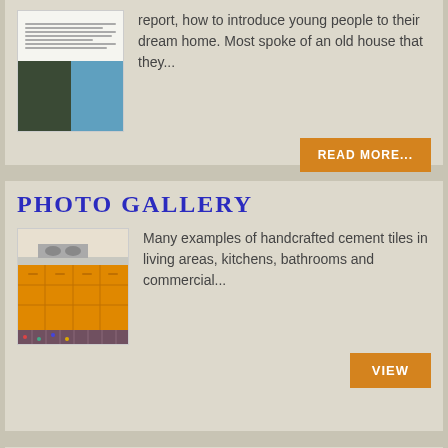[Figure (photo): Thumbnail image of a magazine article page with two smaller photos showing a dark room and a blue roof/sky]
report, how to introduce young people to their dream home. Most spoke of an old house that they...
READ MORE...
PHOTO GALLERY
[Figure (photo): Kitchen with orange/yellow cabinet fronts and patterned cement tile floor]
Many examples of handcrafted cement tiles in living areas, kitchens, bathrooms and commercial...
VIEW